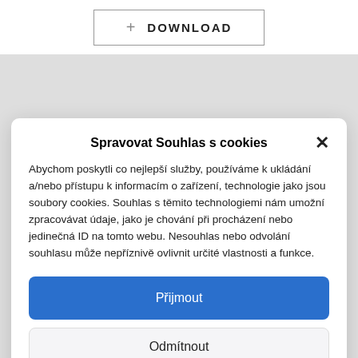[Figure (screenshot): Download button with plus icon and border]
Spravovat Souhlas s cookies
Abychom poskytli co nejlepší služby, používáme k ukládání a/nebo přístupu k informacím o zařízení, technologie jako jsou soubory cookies. Souhlas s těmito technologiemi nám umožní zpracovávat údaje, jako je chování při procházení nebo jedinečná ID na tomto webu. Nesouhlas nebo odvolání souhlasu může nepříznivě ovlivnit určité vlastnosti a funkce.
Přijmout
Odmítnout
Zobrazit předvolby
Zásady cookies   Privacy Statement